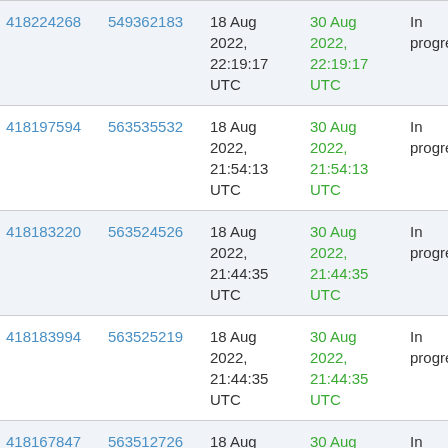| ID1 | ID2 | Start Date | End Date | Status | Col6 | Col7 |
| --- | --- | --- | --- | --- | --- | --- |
| 418224268 | 549362183 | 18 Aug 2022, 22:19:17 UTC | 30 Aug 2022, 22:19:17 UTC | In progress | --- | --- |
| 418197594 | 563535532 | 18 Aug 2022, 21:54:13 UTC | 30 Aug 2022, 21:54:13 UTC | In progress | --- | --- |
| 418183220 | 563524526 | 18 Aug 2022, 21:44:35 UTC | 30 Aug 2022, 21:44:35 UTC | In progress | --- | --- |
| 418183994 | 563525219 | 18 Aug 2022, 21:44:35 UTC | 30 Aug 2022, 21:44:35 UTC | In progress | --- | --- |
| 418167847 | 563512726 | 18 Aug 2022, 21:00:31 UTC | 30 Aug 2022, 21:00:31 UTC | In progress | --- | --- |